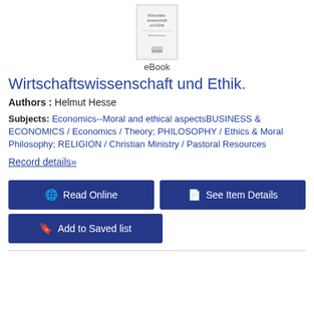[Figure (other): Thumbnail image of book cover for Wirtschaftswissenschaft und Ethik]
eBook
Wirtschaftswissenschaft und Ethik.
Authors : Helmut Hesse
Subjects: Economics--Moral and ethical aspectsBUSINESS & ECONOMICS / Economics / Theory; PHILOSOPHY / Ethics & Moral Philosophy; RELIGION / Christian Ministry / Pastoral Resources
Record details»
Read Online
See Item Details
Add to Saved list